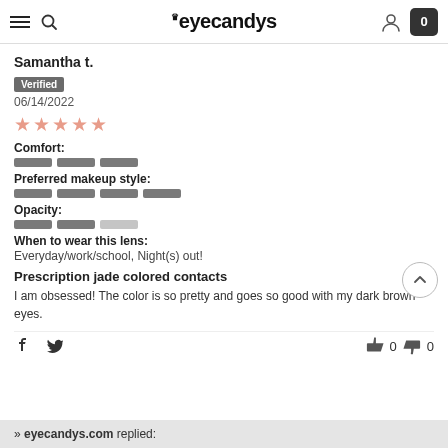eyecandys
Samantha t.
Verified
06/14/2022
★★★★★
Comfort:
Preferred makeup style:
Opacity:
When to wear this lens:
Everyday/work/school, Night(s) out!
Prescription jade colored contacts
I am obsessed! The color is so pretty and goes so good with my dark brown eyes.
>> eyecandys.com replied: